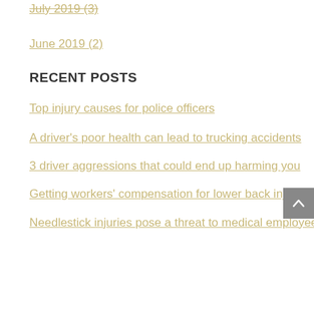July 2019 (3)
June 2019 (2)
RECENT POSTS
Top injury causes for police officers
A driver's poor health can lead to trucking accidents
3 driver aggressions that could end up harming you
Getting workers' compensation for lower back injuries
Needlestick injuries pose a threat to medical employees